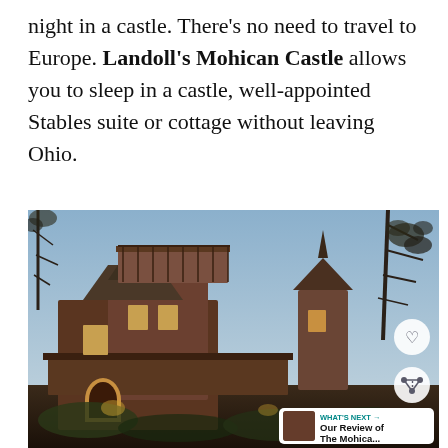night in a castle. There's no need to travel to Europe. Landoll's Mohican Castle allows you to sleep in a castle, well-appointed Stables suite or cottage without leaving Ohio.
[Figure (photo): Exterior photograph of Landoll's Mohican Castle showing rustic multi-level wooden and stone castle structure with balconies, steep rooflines, turret, and bare autumn trees in background at dusk. Overlaid UI elements include a heart/favorite button, a share button, and a 'What's Next' card showing 'Our Review of The Mohica...' with a thumbnail.]